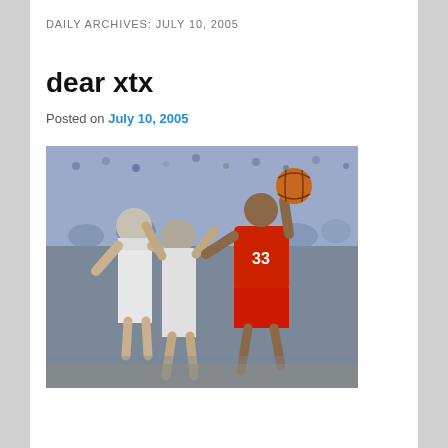DAILY ARCHIVES: JULY 10, 2005
dear xtx
Posted on July 10, 2005
[Figure (photo): Basketball game photo showing a Chicago Bulls player wearing jersey number 33 in red uniform going up for a shot against two defenders in white uniforms, with a crowd in the background at an indoor arena.]